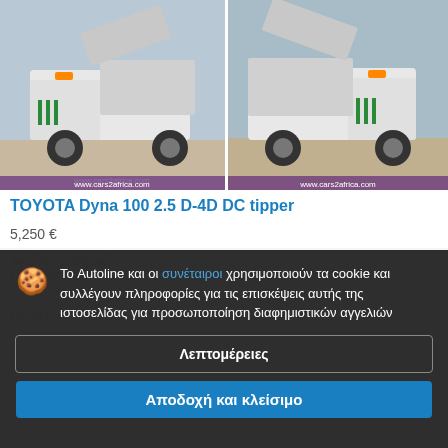[Figure (photo): Two photos of a white Toyota Dyna 100 tipper truck side by side, from cars2africa.com]
TOYOTA Dyna 100 2.5 D-4D DC tipper
5,250 €
Το Autoline και οι συνέταιροι χρησιμοποιούν τα cookie και συλλέγουν πληροφορίες για τις επισκέψεις αυτής της ιστοσελίδας για προσωποποίηση διαφημιστικών αγγελιών
Λεπτομέρειες
Αποδοχή και κλείσιμο